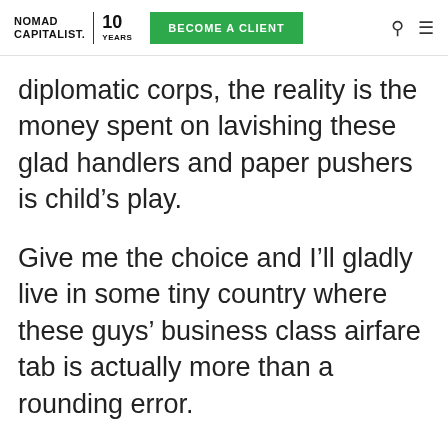NOMAD CAPITALIST. 10 YEARS | BECOME A CLIENT
diplomatic corps, the reality is the money spent on lavishing these glad handlers and paper pushers is child’s play.
Give me the choice and I’ll gladly live in some tiny country where these guys’ business class airfare tab is actually more than a rounding error.
The fact that trying to take over the world amounted to little more than a